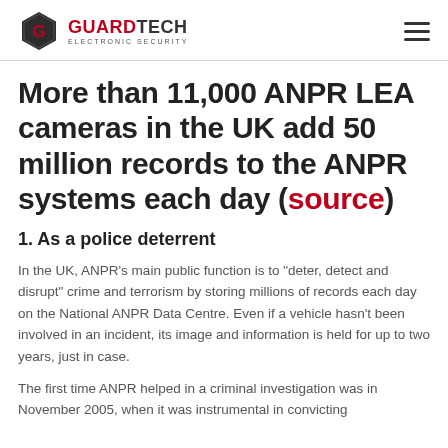GUARDTECH ELECTRONIC SECURITY
More than 11,000 ANPR LEA cameras in the UK add 50 million records to the ANPR systems each day (source)
1. As a police deterrent
In the UK, ANPR’s main public function is to “deter, detect and disrupt” crime and terrorism by storing millions of records each day on the National ANPR Data Centre. Even if a vehicle hasn’t been involved in an incident, its image and information is held for up to two years, just in case.
The first time ANPR helped in a criminal investigation was in November 2005, when it was instrumental in convicting